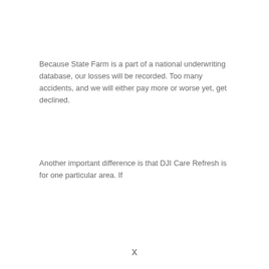Because State Farm is a part of a national underwriting database, our losses will be recorded. Too many accidents, and we will either pay more or worse yet, get declined.
Another important difference is that DJI Care Refresh is for one particular area. If
x